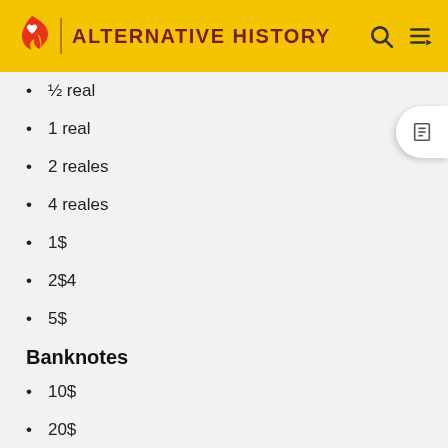ALTERNATIVE HISTORY
½ real
1 real
2 reales
4 reales
1$
2$4
5$
Banknotes
10$
20$
50$
100$
200$